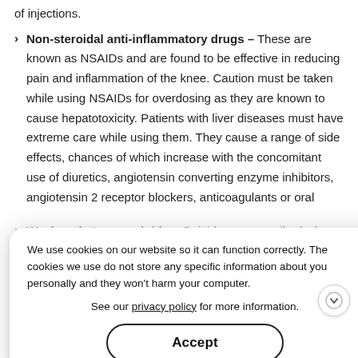of injections.
Non-steroidal anti-inflammatory drugs – These are known as NSAIDs and are found to be effective in reducing pain and inflammation of the knee. Caution must be taken while using NSAIDs for overdosing as they are known to cause hepatotoxicity. Patients with liver diseases must have extreme care while using them. They cause a range of side effects, chances of which increase with the concomitant use of diuretics, angiotensin converting enzyme inhibitors, angiotensin 2 receptor blockers, anticoagulants or oral
Weak and strong opioids – Opioids are prescribed when use of analgesic medications or NSAIDs does not offer symptomatic pain relief, if other treatments have intolerable side effects or in whom the surgery is delayed or contraindicated. Though they offer better
We use cookies on our website so it can function correctly. The cookies we use do not store any specific information about you personally and they won't harm your computer.

See our privacy policy for more information.

Accept